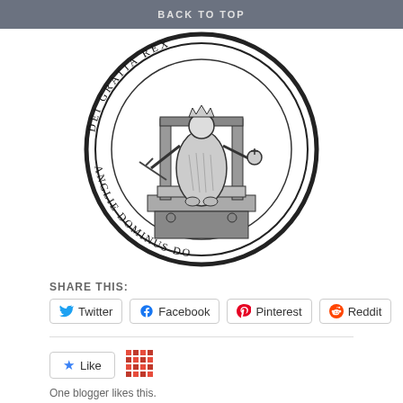BACK TO TOP
[Figure (illustration): A medieval royal seal showing a seated monarch holding a sword and orb, surrounded by Latin text reading 'DEI GRATIA REX ANGLIE DOMINUS' around the circular border. The seal is rendered in black and white engraving style.]
SHARE THIS:
Twitter  Facebook  Pinterest  Reddit
Like
One blogger likes this.